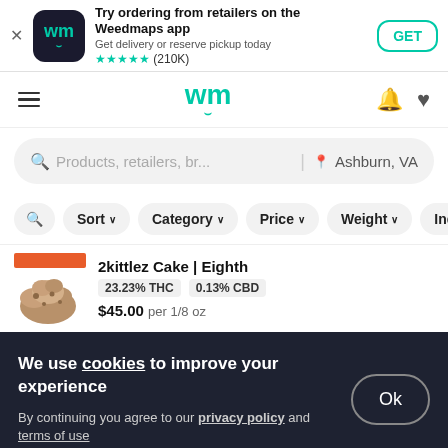[Figure (screenshot): Weedmaps app download banner with logo icon, star rating (210K), and GET button]
[Figure (screenshot): Weedmaps navigation bar with hamburger menu, wm logo, bell and heart icons]
Products, retailers, br... | Ashburn, VA
Sort  Category  Price  Weight  Indic
2kittlez Cake | Eighth
23.23% THC  0.13% CBD
$45.00 per 1/8 oz
We use cookies to improve your experience
By continuing you agree to our privacy policy and terms of use